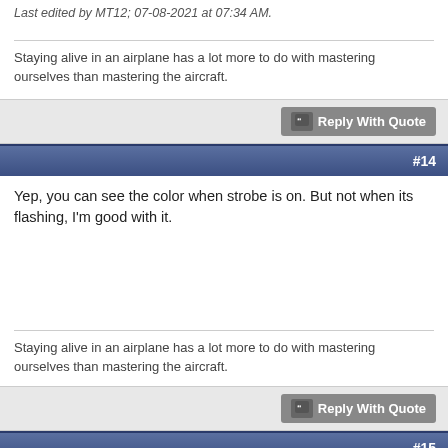Last edited by MT12; 07-08-2021 at 07:34 AM.
Staying alive in an airplane has a lot more to do with mastering ourselves than mastering the aircraft.
Reply With Quote
#14
Yep, you can see the color when strobe is on. But not when its flashing, I'm good with it.
Staying alive in an airplane has a lot more to do with mastering ourselves than mastering the aircraft.
Reply With Quote
#15
Doug, It looks like you have the same mount/fairing on your wing